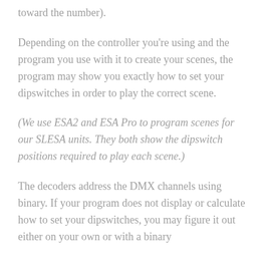toward the number).
Depending on the controller you're using and the program you use with it to create your scenes, the program may show you exactly how to set your dipswitches in order to play the correct scene.
(We use ESA2 and ESA Pro to program scenes for our SLESA units. They both show the dipswitch positions required to play each scene.)
The decoders address the DMX channels using binary. If your program does not display or calculate how to set your dipswitches, you may figure it out either on your own or with a binary